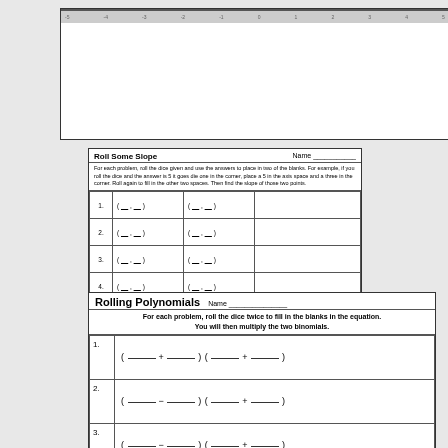[Figure (other): Top portion of a coordinate grid or bar chart with three vertical column divisions and x-axis label area at bottom]
Roll Some Slope
For each problem, roll the dice given and use the answers to place in two of the blanks. For example, if you roll the dice and the answer is 5 it goes die one in the corner, place a 5 in the axis space and a three in the corner. Roll again to fill in the other two spaces. Then find the slope of those two points.
| # | Point 1 | Point 2 | Slope |
| --- | --- | --- | --- |
| 1. | ( ___, ___ ) | ( ___, ___ ) |  |
| 2. | ( ___, ___ ) | ( ___, ___ ) |  |
| 3. | ( ___, ___ ) | ( ___, ___ ) |  |
| 4. | ( ___, ___ ) | ( ___, ___ ) |  |
| 5. | ( ___, ___ ) | ( ___, ___ ) |  |
| 6. | ( ___, ___ ) | ( ___, ___ ) |  |
| 7. | ( ___, ___ ) | ( ___, ___ ) |  |
Rolling Polynomials
For each problem, roll the dice twice to fill in the blanks in the equation. You will then multiply the two binomials.
| # | Equation |
| --- | --- |
| 1. | ( _______ + ________ ) ( _______ + ________ ) |
| 2. | ( ________ − ________ ) ( _______ + ________ ) |
| 3. | ( ________ − ________ ) ( _______ + ________ ) |